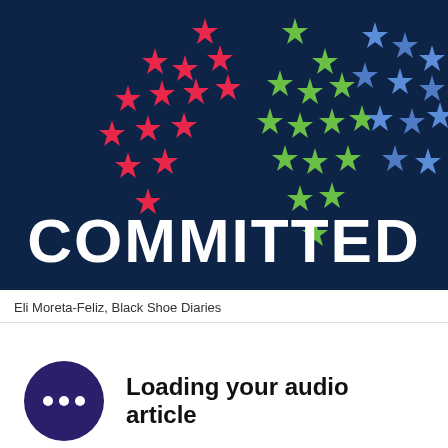[Figure (illustration): Dark navy blue banner with colorful stars arranged in a pattern suggesting the shape of the United States. Stars are red (left), green (center), and blue/light-blue (right). Large white bold text 'COMMITTED' at the bottom of the banner.]
Eli Moreta-Feliz, Black Shoe Diaries
Loading your audio article